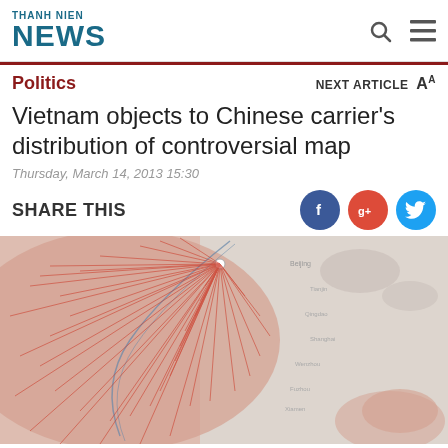THANH NIEN NEWS
Politics
Vietnam objects to Chinese carrier's distribution of controversial map
Thursday, March 14, 2013 15:30
SHARE THIS
[Figure (map): A route map image showing flight paths (red lines) radiating across a region including China, Southeast Asia, and surrounding areas. The map has a muted salmon/peach color for land areas and light gray for sea areas, with numerous red lines indicating airline routes or connections.]